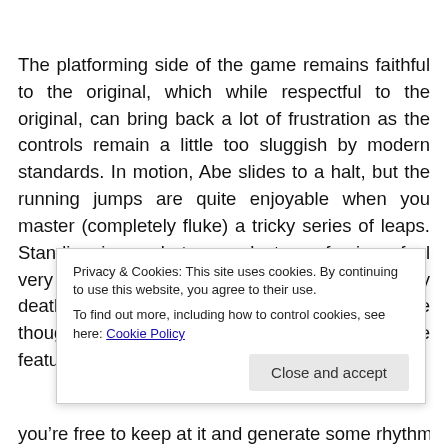The platforming side of the game remains faithful to the original, which while respectful to the original, can bring back a lot of frustration as the controls remain a little too sluggish by modern standards. In motion, Abe slides to a halt, but the running jumps are quite enjoyable when you master (completely fluke) a tricky series of leaps. Standing jumps between clusters of mines feel very stiff though and will cause many angry deaths. It's hard to get too angry with the game though because of the fantastic quicksave feature. A tap of the
Privacy & Cookies: This site uses cookies. By continuing to use this website, you agree to their use. To find out more, including how to control cookies, see here: Cookie Policy
Close and accept
you're free to keep at it and generate some rhythm and get